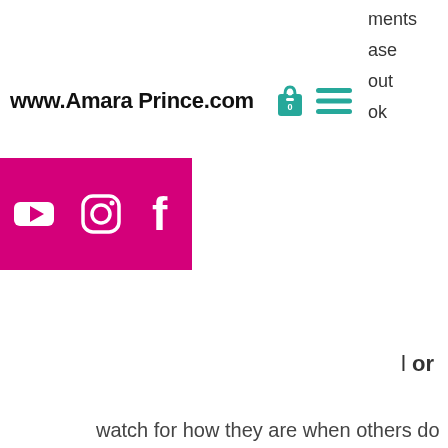www.Amara Prince.com
[Figure (screenshot): Partial navigation menu on the right showing text: ments, ase, out, ok]
[Figure (screenshot): Shopping bag icon and hamburger menu icon in teal/green color]
[Figure (screenshot): Magenta/pink rectangle containing YouTube, Instagram, and Facebook social media icons in white]
l or
watch for how they are when others do something or give them something. Are they greatful, do they reciprocate and give back at some point or do they have an attitude of entitlement and are never happy with what is done for them. If so this is a big red flag that they will take and take, it will never be enough, and you will surely be depleated quickly. This is the person who blames everyone and everything for their problems, and